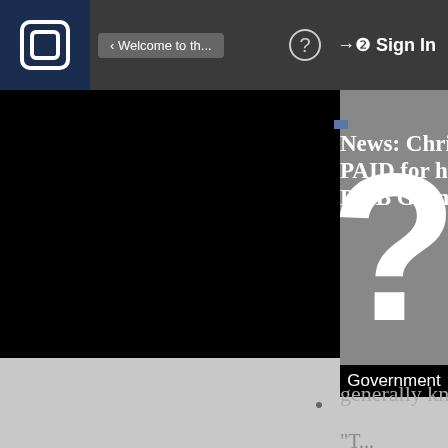Welcome to th...   ?   Sign In
News: Chris Brown PAID for his 2012 R&B Grammy?
Posted May 25th, 2012 at 6:34 AM by Government Hooker (Welcome to the...Electric Chapel)
[Figure (photo): Gray panel with large white question mark]
Government
The rule is generally known as,